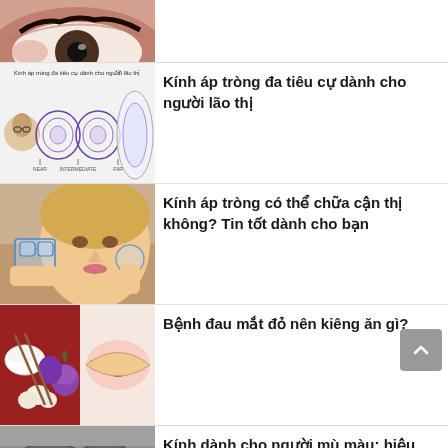[Figure (photo): Partial view of a close-up eye photo at top of page]
[Figure (photo): Infographic showing multifocal contact lenses for presbyopia with diagrams]
Kính áp tròng đa tiêu cự dành cho người lão thị
[Figure (photo): Woman holding glasses in one hand and contact lens in other hand]
Kính áp tròng có thể chữa cận thị không? Tin tốt dành cho bạn
[Figure (photo): Collage of red eye and food items including onions and garlic]
Bệnh đau mắt đỏ nên kiêng ăn gì?
[Figure (photo): Partial black and white photo at bottom of page]
Kính dành cho người mù màu: hiệu quả sử dụng ra sao?